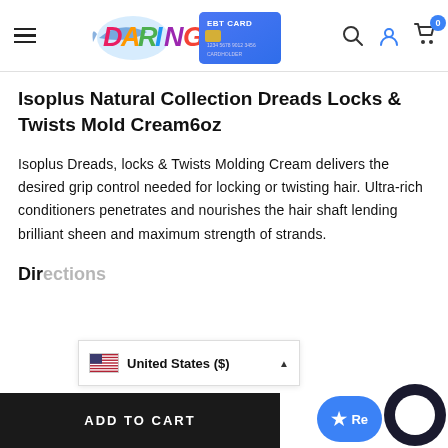[Figure (screenshot): Website header with hamburger menu, Daring logo with EBT card graphic, search icon, user icon, and cart icon with badge showing 0]
Isoplus Natural Collection Dreads Locks & Twists Mold Cream6oz
Isoplus Dreads, locks & Twists Molding Cream delivers the desired grip control needed for locking or twisting hair. Ultra-rich conditioners penetrates and nourishes the hair shaft lending brilliant sheen and maximum strength of strands.
Directions
[Figure (screenshot): Country selector dropdown showing United States ($) with US flag, and ADD TO CART button, Reviews button with star, and chat bubble widget overlaying bottom of page]